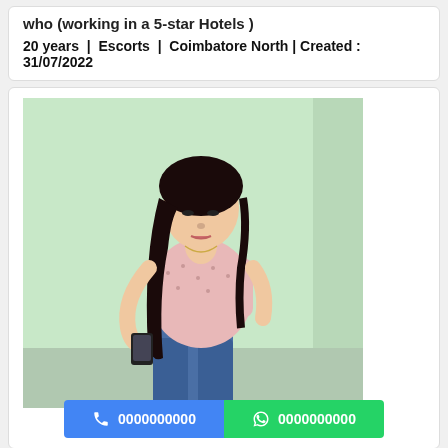who (working in a 5-star Hotels )
20 years | Escorts | Coimbatore North | Created : 31/07/2022
[Figure (photo): Young woman with long dark hair wearing a pink floral top and blue jeans, looking down at a phone, standing against a light green wall]
0000000000
0000000000